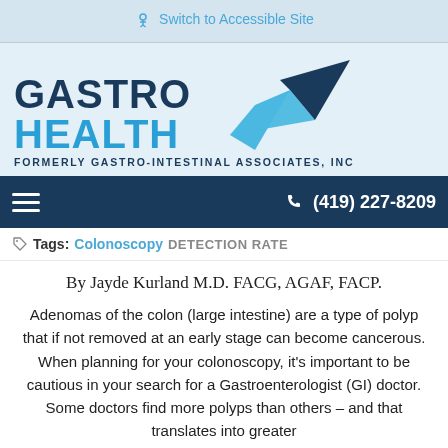Switch to Accessible Site
[Figure (logo): Gastro Health logo with checkmark — 'GASTRO' in dark navy, 'HEALTH' in blue, with a large blue/dark navy checkmark graphic to the right. Subtitle: FORMERLY GASTRO-INTESTINAL ASSOCIATES, INC]
(419) 227-8209
Tags: Colonoscopy   DETECTION RATE
By Jayde Kurland M.D. FACG, AGAF, FACP.
Adenomas of the colon (large intestine) are a type of polyp that if not removed at an early stage can become cancerous. When planning for your colonoscopy, it's important to be cautious in your search for a Gastroenterologist (GI) doctor. Some doctors find more polyps than others – and that translates into greater